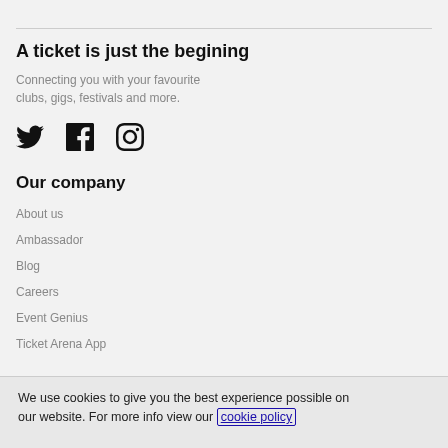A ticket is just the begining
Connecting you with your favourite clubs, gigs, festivals and more.
[Figure (illustration): Twitter, Facebook, and Instagram social media icons]
Our company
About us
Ambassador
Blog
Careers
Event Genius
Ticket Arena App
We use cookies to give you the best experience possible on our website. For more info view our cookie policy